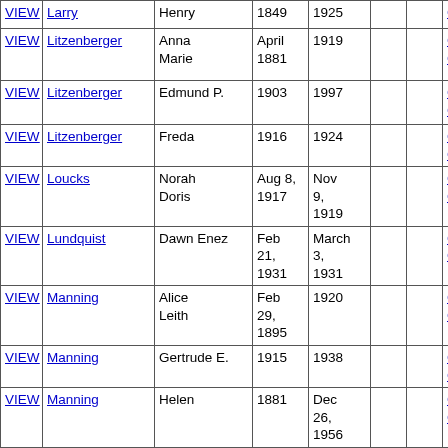| VIEW | Last Name | First Name | Birth | Death |  |  | Ce... |
| --- | --- | --- | --- | --- | --- | --- | --- |
| VIEW | Larry | Henry | 1849 | 1925 |  |  | Ce |
| VIEW | Litzenberger | Anna Marie | April 1881 | 1919 |  |  | Co Ce |
| VIEW | Litzenberger | Edmund P. | 1903 | 1997 |  |  | Co Ce |
| VIEW | Litzenberger | Freda | 1916 | 1924 |  |  | Co Ce |
| VIEW | Loucks | Norah Doris | Aug 8, 1917 | Nov 9, 1919 |  |  | Co Ce |
| VIEW | Lundquist | Dawn Enez | Feb 21, 1931 | March 3, 1931 |  |  | Co Ce |
| VIEW | Manning | Alice Leith | Feb 29, 1895 | 1920 |  |  | Co Ce |
| VIEW | Manning | Gertrude E. | 1915 | 1938 |  |  | Co Ce |
| VIEW | Manning | Helen | 1881 | Dec 26, 1956 |  |  | Co Ce |
| VIEW | Manning | Michael | 1856 | March 18, 1944 |  |  | Co Ce |